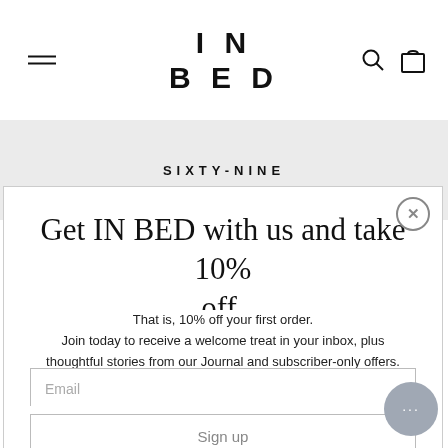IN BED
SIXTY-NINE
Get IN BED with us and take 10% off.
That is, 10% off your first order. Join today to receive a welcome treat in your inbox, plus thoughtful stories from our Journal and subscriber-only offers.
Email
Sign up